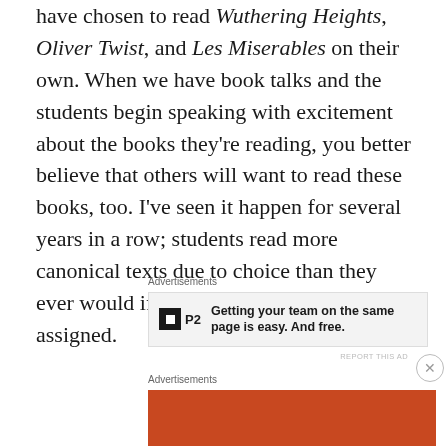have chosen to read Wuthering Heights, Oliver Twist, and Les Miserables on their own. When we have book talks and the students begin speaking with excitement about the books they're reading, you better believe that others will want to read these books, too. I've seen it happen for several years in a row; students read more canonical texts due to choice than they ever would if the books were strictly assigned.
Advertisements
[Figure (other): P2 advertisement banner: logo with 'P2' text, bold headline 'Getting your team on the same page is easy. And free.']
REPORT THIS AD
Advertisements
[Figure (other): DuckDuckGo advertisement: orange background with white text 'Search, browse, and email with more privacy.' and 'All in One Free App' button, phone image and DuckDuckGo logo on right.]